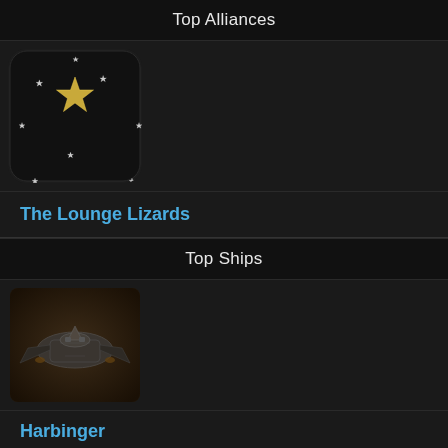Top Alliances
[Figure (illustration): Alliance logo with gold star surrounded by smaller white stars on dark rounded square background]
The Lounge Lizards
Top Ships
[Figure (illustration): Harbinger battlecruiser spaceship on brownish background]
Harbinger
Top Systems
[Figure (photo): Space scene showing a bright white planet or star with blue nebula-like atmosphere and light rays]